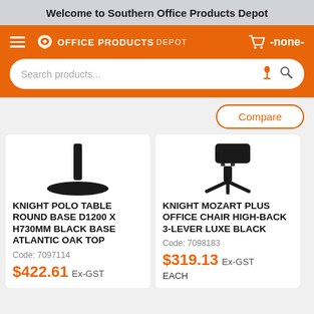Welcome to Southern Office Products Depot
[Figure (screenshot): Office Products Depot navigation bar with hamburger menu, logo, cart icon showing -none-, and search bar]
Compare
[Figure (photo): Knight Polo Table Round Base product image showing black round table base]
KNIGHT POLO TABLE ROUND BASE D1200 X H730MM BLACK BASE ATLANTIC OAK TOP
Code: 7097114
$422.61 Ex-GST
[Figure (photo): Knight Mozart Plus Office Chair High-Back 3-Lever product image showing black office chair base]
KNIGHT MOZART PLUS OFFICE CHAIR HIGH-BACK 3-LEVER LUXE BLACK
Code: 7098183
$319.13 Ex-GST
EACH